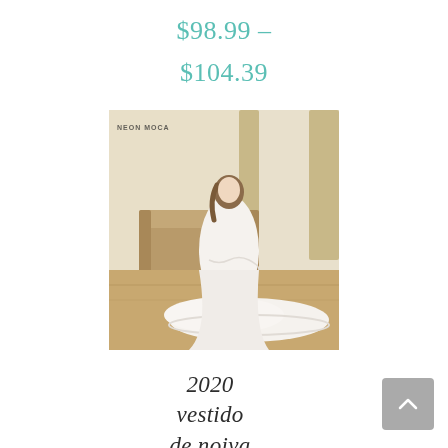$98.99 – $104.39
[Figure (photo): Woman wearing a white vintage lace mermaid wedding dress with a long train in a bright room setting. Watermark reads NEON MOCA.]
2020 vestido de noiva vintage lace mermaid wedding